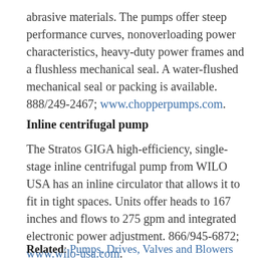abrasive materials. The pumps offer steep performance curves, nonoverloading power characteristics, heavy-duty power frames and a flushless mechanical seal. A water-flushed mechanical seal or packing is available. 888/249-2467; www.chopperpumps.com.
Inline centrifugal pump
The Stratos GIGA high-efficiency, single-stage inline centrifugal pump from WILO USA has an inline circulator that allows it to fit in tight spaces. Units offer heads to 167 inches and flows to 275 gpm and integrated electronic power adjustment. 866/945-6872; www.wilo-usa.com.
Related: Pumps, Drives, Valves and Blowers